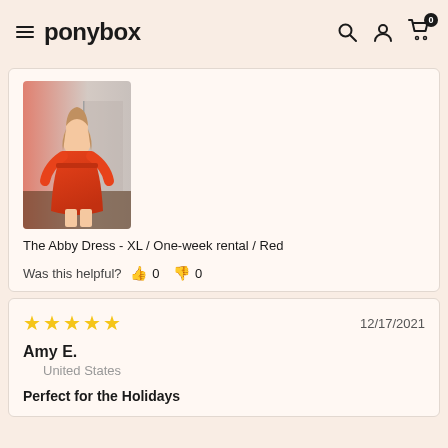ponybox
[Figure (photo): Woman wearing a red long-sleeve dress, product photo for The Abby Dress]
The Abby Dress - XL / One-week rental / Red
Was this helpful? 👍 0 👎 0
★★★★★ 12/17/2021
Amy E.
United States
Perfect for the Holidays